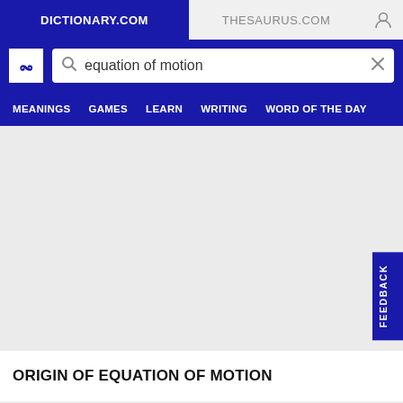DICTIONARY.COM | THESAURUS.COM
[Figure (screenshot): Dictionary.com website header with search bar containing 'equation of motion', navigation tabs: MEANINGS, GAMES, LEARN, WRITING, WORD OF THE DAY]
ORIGIN OF EQUATION OF MOTION
FEEDBACK